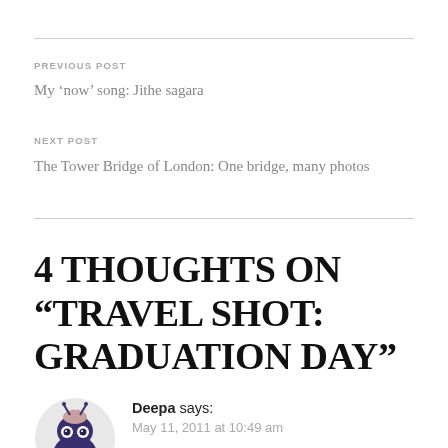PREVIOUS POST
My ‘now’ song: Jithe sagara
NEXT POST
The Tower Bridge of London: One bridge, many photos
4 THOUGHTS ON “TRAVEL SHOT: GRADUATION DAY”
[Figure (illustration): Avatar illustration of a cartoon character with a dark purple body, large round eyes, antennae, and a brain-like top]
Deepa says: May 11, 2011 at 10:49 am